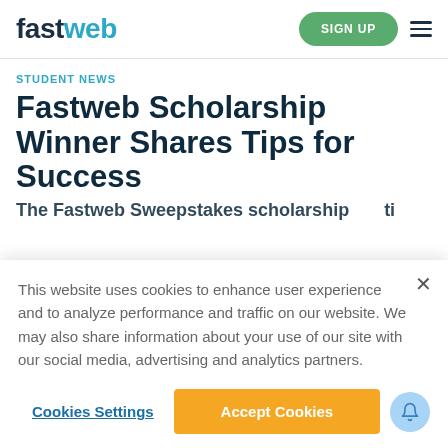fastweb — SIGN UP
STUDENT NEWS
Fastweb Scholarship Winner Shares Tips for Success
The Fastweb Sweepstakes scholarship...
This website uses cookies to enhance user experience and to analyze performance and traffic on our website. We may also share information about your use of our site with our social media, advertising and analytics partners.
Cookies Settings
Accept Cookies